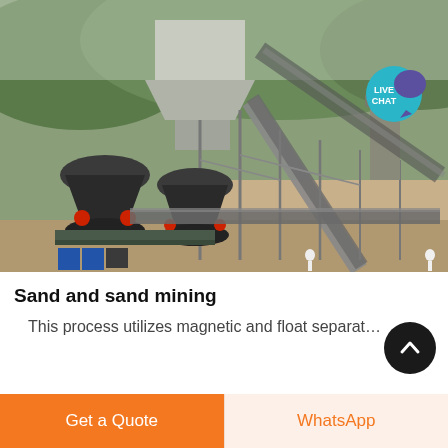[Figure (photo): Large industrial mining/crushing plant facility with conveyor belts, cone crushers, steel frame structures, and machinery, set against a hilly green background. Shows heavy industrial equipment used in sand and ore processing.]
Sand and sand mining
This process utilizes magnetic and float separat…
Get a Quote
WhatsApp